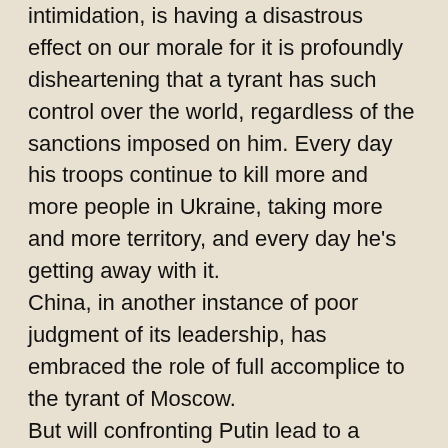intimidation, is having a disastrous effect on our morale for it is profoundly disheartening that a tyrant has such control over the world, regardless of the sanctions imposed on him. Every day his troops continue to kill more and more people in Ukraine, taking more and more territory, and every day he's getting away with it.
China, in another instance of poor judgment of its leadership, has embraced the role of full accomplice to the tyrant of Moscow.
But will confronting Putin lead to a nuclear war?
I don't think so, for China would be quick to